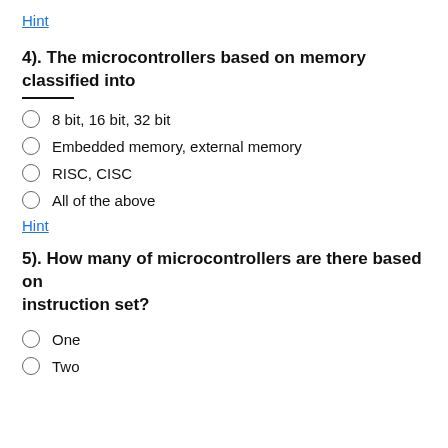Hint
4). The microcontrollers based on memory classified into ___
8 bit, 16 bit, 32 bit
Embedded memory, external memory
RISC, CISC
All of the above
Hint
5). How many of microcontrollers are there based on instruction set?
One
Two